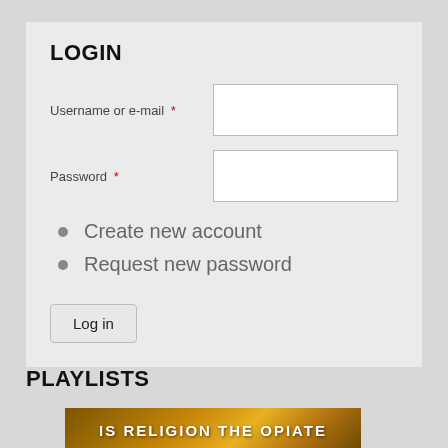LOGIN
Username or e-mail *
Password *
Create new account
Request new password
Log in
PLAYLISTS
[Figure (photo): Playlist thumbnail image with text 'IS RELIGION THE OPIATE' on a golden/brown background]